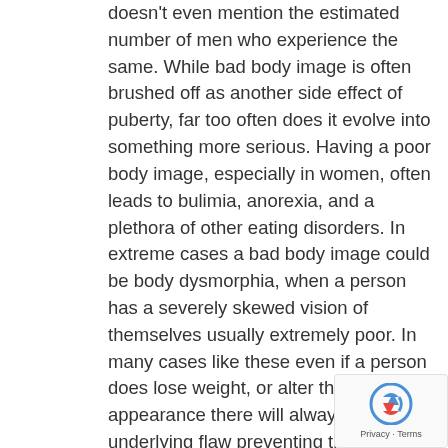doesn't even mention the estimated number of men who experience the same. While bad body image is often brushed off as another side effect of puberty, far too often does it evolve into something more serious. Having a poor body image, especially in women, often leads to bulimia, anorexia, and a plethora of other eating disorders. In extreme cases a bad body image could be body dysmorphia, when a person has a severely skewed vision of themselves usually extremely poor. In many cases like these even if a person does lose weight, or alter their appearance there will always be an underlying flaw preventing them from recovering.
Upon a closer look the root of bad body image in many cases isn't really someone's body at all. It's the other mental pressure that lies beneath. In an article published by Science Daily related to body image, it was stated that in many scientific findings adolescents who suffer from a bad body image can